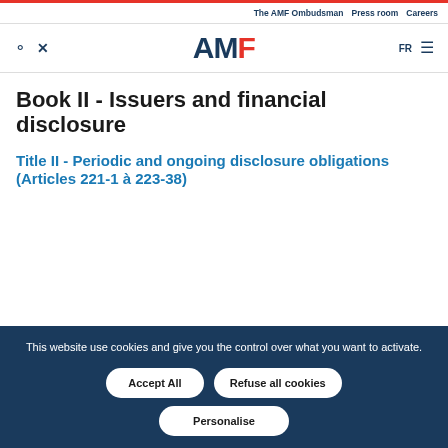The AMF Ombudsman  Press room  Careers
[Figure (logo): AMF logo with search and close icons on the left, FR language toggle and hamburger menu on the right]
Book II - Issuers and financial disclosure
Title II - Periodic and ongoing disclosure obligations (Articles 221-1 à 223-38)
This website use cookies and give you the control over what you want to activate.
Accept All  Refuse all cookies  Personalise